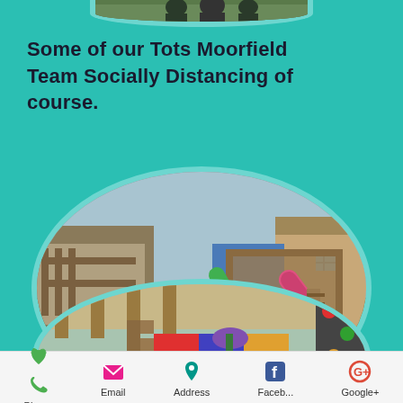[Figure (photo): Partial oval photo at top of page, cropped team photo]
Some of our Tots Moorfield Team Socially Distancing of course.
[Figure (photo): Oval-shaped photo of children's outdoor playground with wooden climbing frame, slides, toy car, green artificial grass]
[Figure (photo): Partial oval photo at bottom showing outdoor play area with colourful equipment]
Phone  Email  Address  Faceb...  Google+